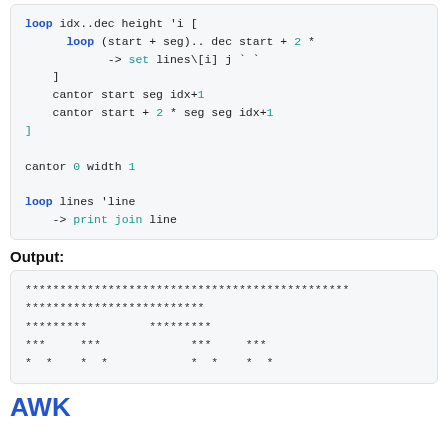loop idx..dec height 'i [
    loop (start + seg).. dec start + 2 *
        -> set lines\[i] j ` `
]
cantor start seg idx+1
cantor start + 2 * seg seg idx+1
]

cantor 0 width 1

loop lines 'line
    -> print join line
Output:
***********************************************
**************************
*********         *********
***     ***             ***     ***
*  *    *  *            *  *    *  *
AWK